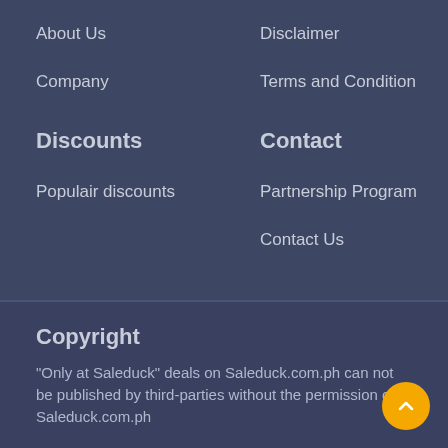About Us
Disclaimer
Company
Terms and Condition
Discounts
Contact
Populair discounts
Partnership Program
Contact Us
Copyright
"Only at Saleduck" deals on Saleduck.com.ph can not be published by third-parties without the permission of Saleduck.com.ph